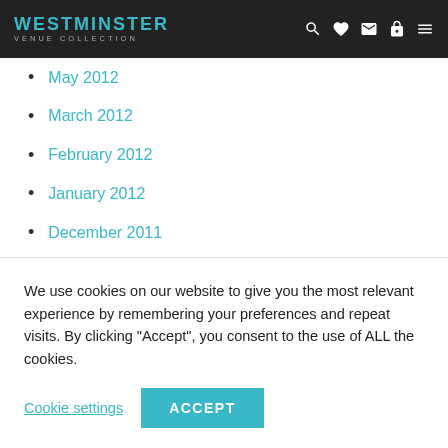WESTMINSTER VENUE COLLECTION
May 2012
March 2012
February 2012
January 2012
December 2011
November 2011
September 2011
August 2011
July 2011
June 2011
We use cookies on our website to give you the most relevant experience by remembering your preferences and repeat visits. By clicking “Accept”, you consent to the use of ALL the cookies.